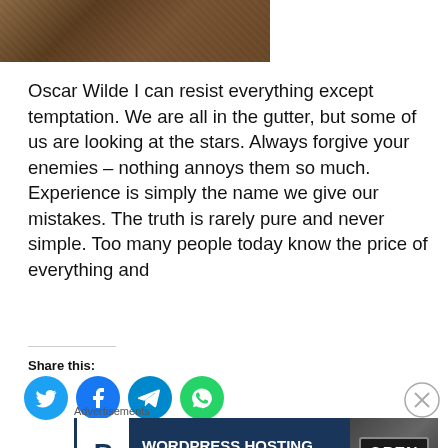[Figure (photo): Sepia-toned photograph, partially visible at top of page, appears to show a person outdoors]
Oscar Wilde I can resist everything except temptation. We are all in the gutter, but some of us are looking at the stars. Always forgive your enemies – nothing annoys them so much. Experience is simply the name we give our mistakes. The truth is rarely pure and never simple. Too many people today know the price of everything and
Share this:
[Figure (infographic): Social sharing icons: Twitter (blue), Facebook (blue), Telegram (blue), WhatsApp (green)]
Advertisements
[Figure (infographic): Advertisement banner: WordPress Hosting That Means Business with P logo and OPEN sign photo]